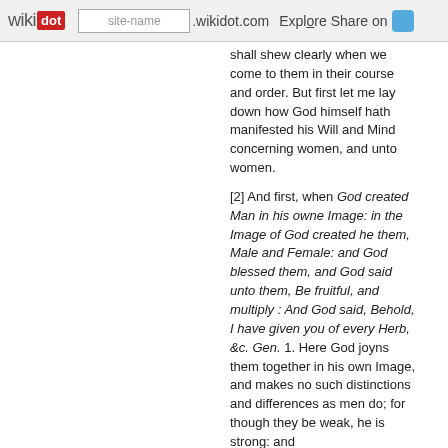wikidot | site-name | .wikidot.com | Explore | Share on
shall shew clearly when we come to them in their course and order. But first let me lay down how God himself hath manifested his Will and Mind concerning women, and unto women.
[2] And first, when God created Man in his owne Image: in the Image of God created he them, Male and Female: and God blessed them, and God said unto them, Be fruitful, and multiply : And God said, Behold, I have given you of every Herb, &c. Gen. 1. Here God joyns them together in his own Image, and makes no such distinctions and differences as men do; for though they be weak, he is strong: and